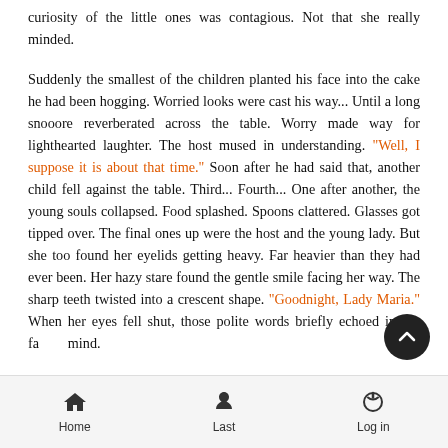curiosity of the little ones was contagious. Not that she really minded.
Suddenly the smallest of the children planted his face into the cake he had been hogging. Worried looks were cast his way... Until a long snooore reverberated across the table. Worry made way for lighthearted laughter. The host mused in understanding. "Well, I suppose it is about that time." Soon after he had said that, another child fell against the table. Third... Fourth... One after another, the young souls collapsed. Food splashed. Spoons clattered. Glasses got tipped over. The final ones up were the host and the young lady. But she too found her eyelids getting heavy. Far heavier than they had ever been. Her hazy stare found the gentle smile facing her way. The sharp teeth twisted into a crescent shape. "Goodnight, Lady Maria." When her eyes fell shut, those polite words briefly echoed in her fading mind.
Home  Last  Log in